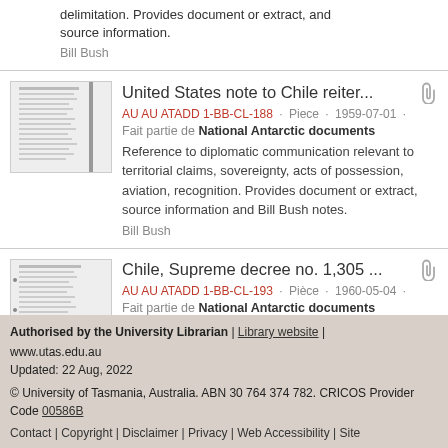delimitation. Provides document or extract, and source information.
Bill Bush
United States note to Chile reiter... | AU AU ATADD 1-BB-CL-188 · Piece · 1959-07-01 · Fait partie de National Antarctic documents | Reference to diplomatic communication relevant to territorial claims, sovereignty, acts of possession, aviation, recognition. Provides document or extract, source information and Bill Bush notes. | Bill Bush
Chile, Supreme decree no. 1,305 ... | AU AU ATADD 1-BB-CL-193 · Piece · 1960-05-04 · Fait partie de National Antarctic documents | Reference to diplomatic...
Authorised by the University Librarian | Library website | www.utas.edu.au
Updated: 22 Aug, 2022

© University of Tasmania, Australia. ABN 30 764 374 782. CRICOS Provider Code 00586B
Contact | Copyright | Disclaimer | Privacy | Web Accessibility | Site